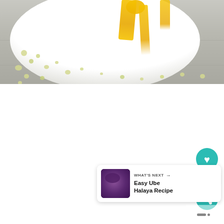[Figure (photo): Top-down food photography showing a white plate with yellow honey drizzled over it and small green crumbles scattered on a light gray wooden surface]
376
[Figure (photo): WHAT'S NEXT arrow Easy Ube Halaya Recipe - thumbnail card with purple food image]
[Figure (other): Bottom navigation bar area with small bar icons]